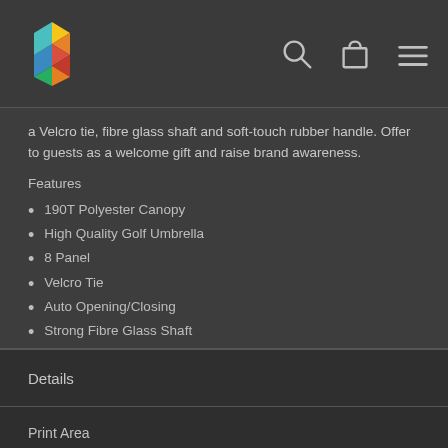Navigation bar with logo and icons (search, bag, menu)
a Velcro tie, fibre glass shaft and soft-touch rubber handle. Offer to guests as a welcome gift and raise brand awareness.
Features
190T Polyester Canopy
High Quality Golf Umbrella
8 Panel
Velcro Tie
Auto Opening/Closing
Strong Fibre Glass Shaft
Metal Tip
Black Moulded Soft-Touch Rubber Handle
75cm Ribs
17 Colour Options
Packaging: Opp Sleeve
Details
Print Area